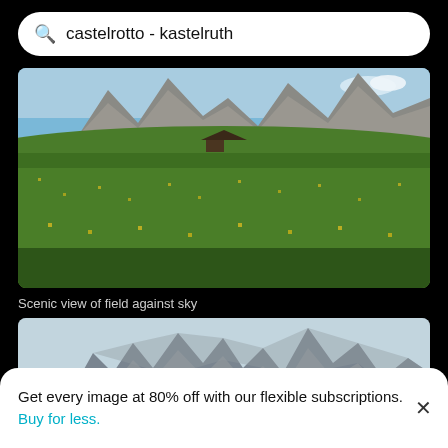castelrotto - kastelruth
[Figure (photo): Scenic alpine meadow with green grass and yellow wildflowers in foreground, rocky mountain peaks in background, small wooden hut in middle distance, blue sky with light clouds]
Scenic view of field against sky
[Figure (photo): Close-up view of dramatic sharp rocky mountain peaks (Dolomites) with light blue hazy sky background]
Get every image at 80% off with our flexible subscriptions. Buy for less.